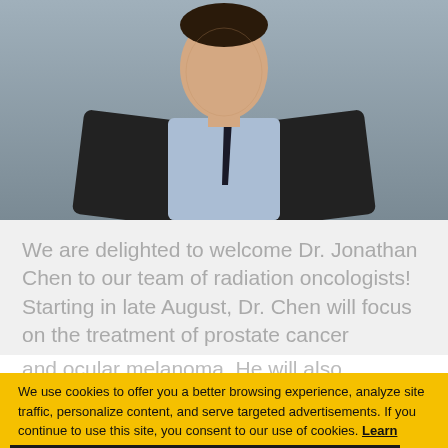[Figure (photo): Professional headshot of Dr. Jonathan Chen, a man in a dark suit with a light blue shirt and dark tie, photographed against a grey background]
We are delighted to welcome Dr. Jonathan Chen to our team of radiation oncologists! Starting in late August, Dr. Chen will focus on the treatment of prostate cancer and ocular melanoma. He will also [partial text continues below cookie banner]
We use cookies to offer you a better browsing experience, analyze site traffic, personalize content, and serve targeted advertisements. If you continue to use this site, you consent to our use of cookies. Learn more
Got it!